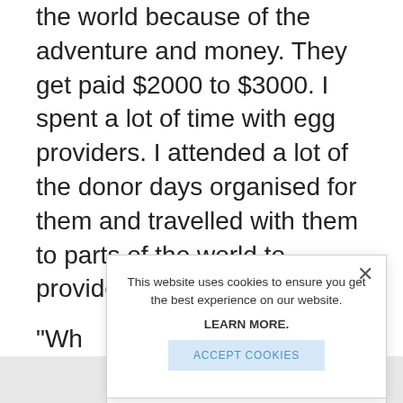the world because of the adventure and money. They get paid $2000 to $3000. I spent a lot of time with egg providers. I attended a lot of the donor days organised for them and travelled with them to parts of the world to provide the eggs.
“Wh[ether] the [next] seco[nd] usin[g]
She ferti mor
[Figure (screenshot): Cookie consent modal dialog with close button (X), message 'This website uses cookies to ensure you get the best experience on our website.', bold text 'LEARN MORE.', and a light blue 'ACCEPT COOKIES' button.]